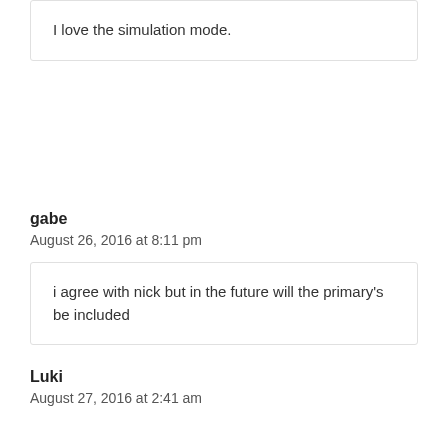I love the simulation mode.
gabe
August 26, 2016 at 8:11 pm
i agree with nick but in the future will the primary’s be included
Luki
August 27, 2016 at 2:41 am